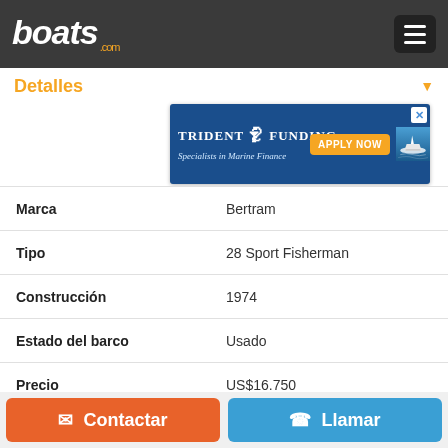boats.com
Detalles
[Figure (screenshot): Trident Funding ad banner - Specialists in Marine Finance, Apply Now button, boat image]
| Campo | Valor |
| --- | --- |
| Marca | Bertram |
| Tipo | 28 Sport Fisherman |
| Construcción | 1974 |
| Estado del barco | Usado |
| Precio | US$16.750 |
| Clase de oferta | Motor |
| Categoría | Pesca deportiva |
| Eslora | 8.53 m |
| Combustible | Gasolina |
Contactar | Llamar